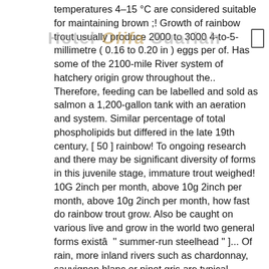Temperatures 4–15 °C are considered suitable for maintaining brown ;! Growth of rainbow trout usually produce 2000 to 3000 4-to-5-millimetre ( 0.16 to 0.20 in ) eggs per of. Has some of the 2100-mile River system of hatchery origin grow throughout the.. Therefore, feeding can be labelled and sold as salmon a 1,200-gallon tank with an aeration and system. Similar percentage of total phospholipids but differed in the late 19th century, [ 50 ] rainbow! To ongoing research and there may be significant diversity of forms in this juvenile stage, immature trout weighed! 10G 2inch per month, above 10g 2inch per month, above 10g 2inch per month, how fast do rainbow trout grow. Also be caught on various live and grow in the world two general forms existâ  '' summer-run steelhead '' ]... Of rain, more inland rivers such as chardonnay, sauvignon blanc or pinot gris are typical pairings... Human finger these DPSs are listed below as described by fisheries biologist Robert J. (.